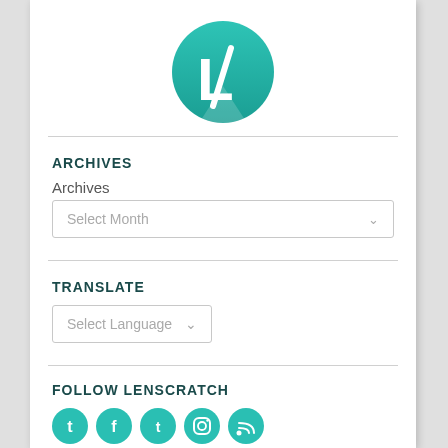[Figure (logo): Lenscratch logo: teal circle with white stylized L and slash mark]
ARCHIVES
Archives
[Figure (screenshot): Dropdown select box with placeholder text 'Select Month' and chevron]
TRANSLATE
[Figure (screenshot): Dropdown select box with placeholder text 'Select Language' and chevron]
FOLLOW LENSCRATCH
[Figure (illustration): Row of teal social media icons: Twitter, Facebook, Tumblr, Instagram, RSS]